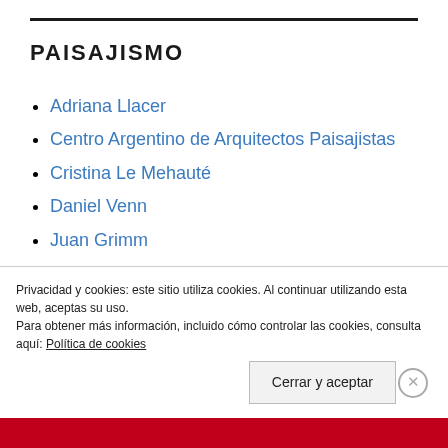PAISAJISMO
Adriana Llacer
Centro Argentino de Arquitectos Paisajistas
Cristina Le Mehauté
Daniel Venn
Juan Grimm
Paisajismo
Paisajismo Online
Privacidad y cookies: este sitio utiliza cookies. Al continuar utilizando esta web, aceptas su uso.
Para obtener más información, incluido cómo controlar las cookies, consulta aquí: Política de cookies
Cerrar y aceptar